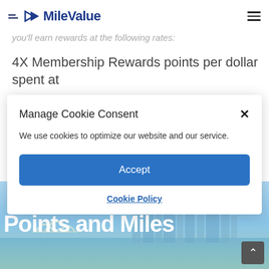MileValue
you'll earn rewards at the following rates:
4X Membership Rewards points per dollar spent at
Manage Cookie Consent
We use cookies to optimize our website and our service.
Accept
Cookie Policy
[Figure (photo): City skyline with Sydney Opera House visible, blue sky background with text 'Points and Miles' overlaid in white bold font]